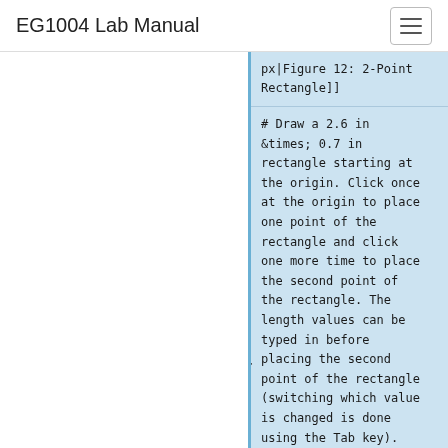EG1004 Lab Manual
px|Figure 12: 2-Point Rectangle]]
# Draw a 2.6 in &times; 0.7 in rectangle starting at the origin. Click once at the origin to place one point of the rectangle and click one more time to place the second point of the rectangle. The length values can be typed in before placing the second point of the rectangle (switching which value is changed is done using the Tab key).